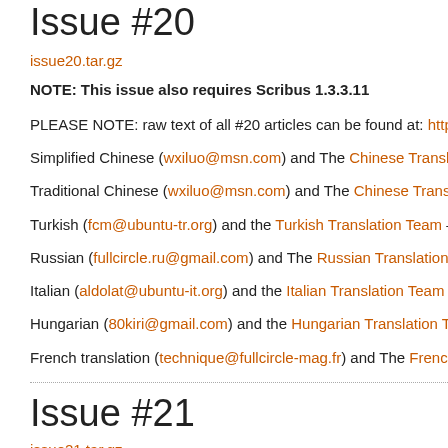Issue #20
issue20.tar.gz
NOTE: This issue also requires Scribus 1.3.3.11
PLEASE NOTE: raw text of all #20 articles can be found at: http...
Simplified Chinese (wxiluo@msn.com) and The Chinese Transla...
Traditional Chinese (wxiluo@msn.com) and The Chinese Transl...
Turkish (fcm@ubuntu-tr.org) and the Turkish Translation Team -...
Russian (fullcircle.ru@gmail.com) and The Russian Translation...
Italian (aldolat@ubuntu-it.org) and the Italian Translation Team...
Hungarian (80kiri@gmail.com) and the Hungarian Translation T...
French translation (technique@fullcircle-mag.fr) and The Frenc...
Issue #21
issue21.tar.gz
NOTE: This issue also requires Scribus 1.3.3.11